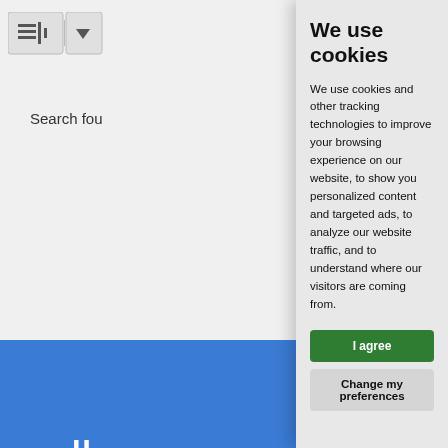[Figure (screenshot): Toolbar with list/sort icon and dropdown arrow button on light grey background]
Search fou
[Figure (screenshot): Blue Volkswagen banner block showing 'volkswa' text and 'Our Volkswagen I' subtext, partially cropped]
[Figure (screenshot): Dark grey 'follow u' social media block with Facebook, Twitter, and another social icon]
We use cookies
We use cookies and other tracking technologies to improve your browsing experience on our website, to show you personalized content and targeted ads, to analyze our website traffic, and to understand where our visitors are coming from.
I agree
Change my preferences